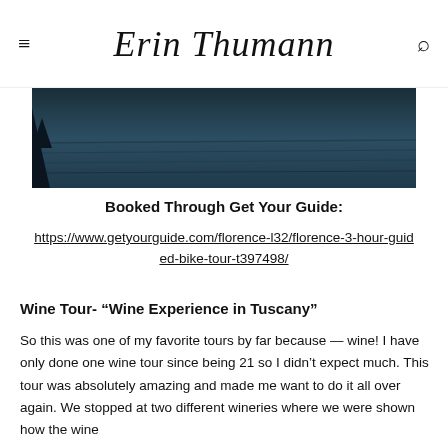Erin Thumann
[Figure (photo): Dark teal/navy water landscape photo with a tree silhouette on the left side]
Booked Through Get Your Guide:
https://www.getyourguide.com/florence-l32/florence-3-hour-guided-bike-tour-t397498/
Wine Tour- “Wine Experience in Tuscany”
So this was one of my favorite tours by far because — wine! I have only done one wine tour since being 21 so I didn’t expect much. This tour was absolutely amazing and made me want to do it all over again. We stopped at two different wineries where we were shown how the wine